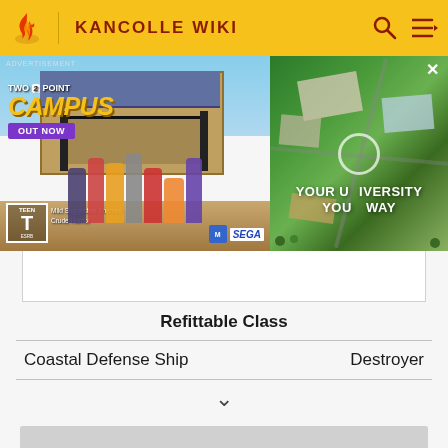KANCOLLE WIKI
[Figure (photo): Advertisement for Two Point Campus game by Sega. Shows game characters in front of a university building. Text reads: TWO POINT CAMPUS, OUT NOW. TEEN rating (ESRB). Also shows aerial view of campus with text: YOUR UNIVERSITY YOUR WAY.]
Refittable Class
Coastal Defense Ship    Destroyer